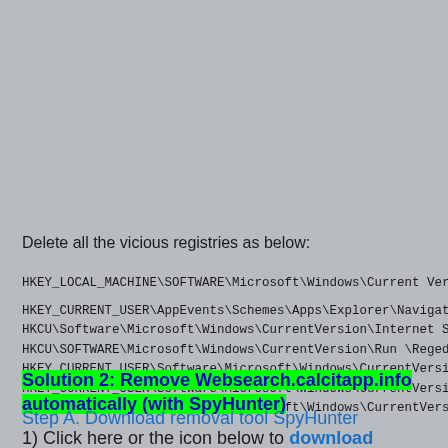Delete all the vicious registries as below:
HKEY_LOCAL_MACHINE\SOFTWARE\Microsoft\Windows\Current Ver
HKEY_CURRENT_USER\AppEvents\Schemes\Apps\Explorer\Navigat
HKCU\Software\Microsoft\Windows\CurrentVersion\Internet S
HKCU\SOFTWARE\Microsoft\Windows\CurrentVersion\Run \Rege
HKEY_CURRENT_USER\Software\Microsoft\Windows\CurrentVersi
HKEY_CURRENT_USER\Software\Microsoft\Windows\CurrentVersi
HKEY_LOCAL_MACHINE\SOFTWARE\Microsoft\Windows\CurrentVers
Solution 2: Remove Websearch.calcitapp.info automatically (with SpyHunter)
Step A. Download removal tool SpyHunter
1) Click here or the icon below to download SpyHunter automatically.